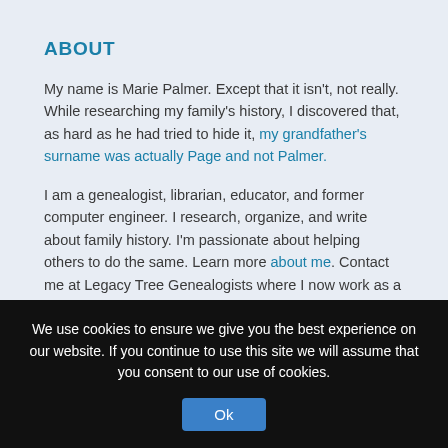ABOUT
My name is Marie Palmer. Except that it isn't, not really. While researching my family's history, I discovered that, as hard as he had tried to hide it, my grandfather's surname was actually Page and not Palmer.
I am a genealogist, librarian, educator, and former computer engineer. I research, organize, and write about family history. I'm passionate about helping others to do the same. Learn more about me. Contact me at Legacy Tree Genealogists where I now work as a project manager.
We use cookies to ensure we give you the best experience on our website. If you continue to use this site we will assume that you consent to our use of cookies.